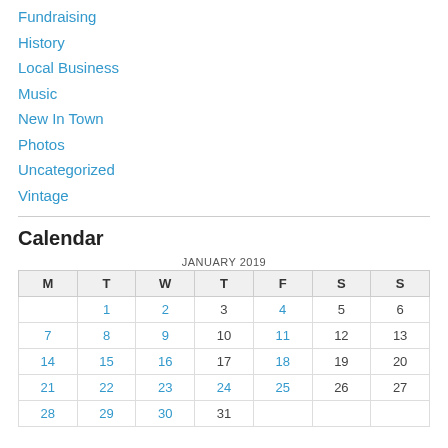Fundraising
History
Local Business
Music
New In Town
Photos
Uncategorized
Vintage
Calendar
| M | T | W | T | F | S | S |
| --- | --- | --- | --- | --- | --- | --- |
|  | 1 | 2 | 3 | 4 | 5 | 6 |
| 7 | 8 | 9 | 10 | 11 | 12 | 13 |
| 14 | 15 | 16 | 17 | 18 | 19 | 20 |
| 21 | 22 | 23 | 24 | 25 | 26 | 27 |
| 28 | 29 | 30 | 31 |  |  |  |